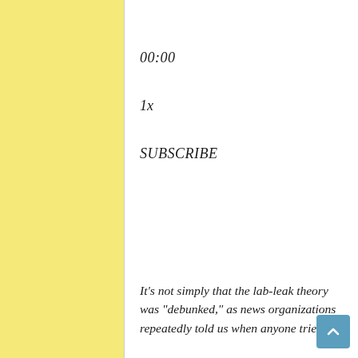00:00
1x
SUBSCRIBE
It’s not simply that the lab-leak theory was “debunked,” as news organizations repeatedly told us when anyone tried to